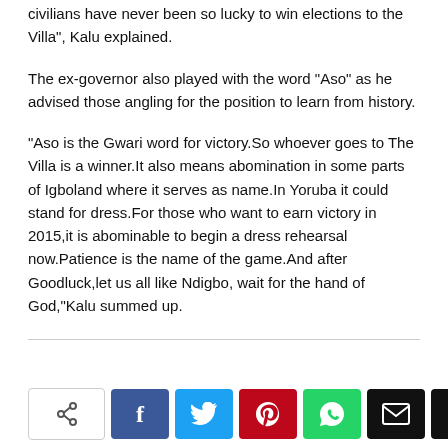civilians have never been so lucky to win elections to the Villa", Kalu explained.
The ex-governor also played with the word “Aso” as he advised those angling for the position to learn from history.
“Aso is the Gwari word for victory.So whoever goes to The Villa is a winner.It also means abomination in some parts of Igboland where it serves as name.In Yoruba it could stand for dress.For those who want to earn victory in 2015,it is abominable to begin a dress rehearsal now.Patience is the name of the game.And after Goodluck,let us all like Ndigbo, wait for the hand of God,”Kalu summed up.
[Figure (infographic): Social share buttons row: native share icon, Facebook (f), Twitter (bird), Pinterest (P), WhatsApp (phone), Email (envelope), Print (printer)]